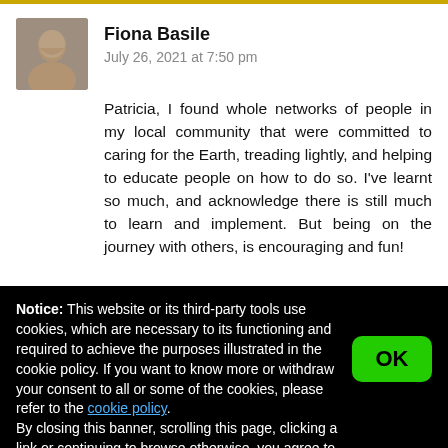Fiona Basile
July 26, 2021 at 7:50 pm
Patricia, I found whole networks of people in my local community that were committed to caring for the Earth, treading lightly, and helping to educate people on how to do so. I've learnt so much, and acknowledge there is still much to learn and implement. But being on the journey with others, is encouraging and fun!
Notice: This website or its third-party tools use cookies, which are necessary to its functioning and required to achieve the purposes illustrated in the cookie policy. If you want to know more or withdraw your consent to all or some of the cookies, please refer to the cookie policy. By closing this banner, scrolling this page, clicking a link or continuing to browse otherwise, you agree to the use of cookies.